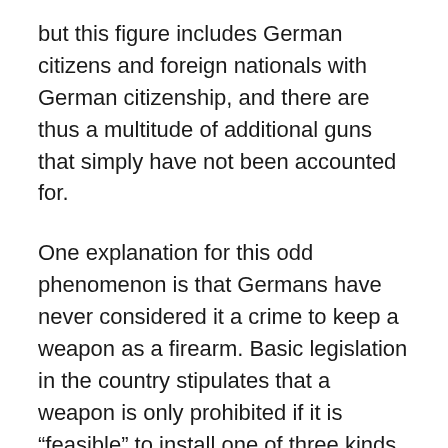but this figure includes German citizens and foreign nationals with German citizenship, and there are thus a multitude of additional guns that simply have not been accounted for.
One explanation for this odd phenomenon is that Germans have never considered it a crime to keep a weapon as a firearm. Basic legislation in the country stipulates that a weapon is only prohibited if it is “feasible” to install one of three kinds of triggers or hand grips. In addition, individuals can own guns “against their will” and continue to use them